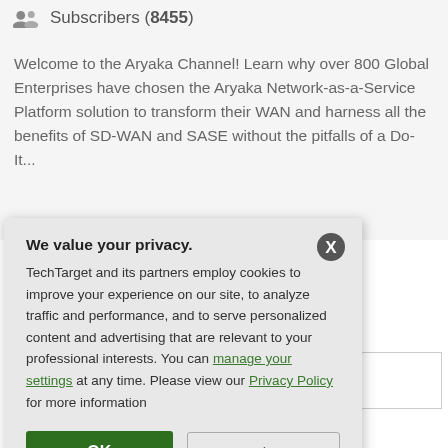Subscribers (8455)
Welcome to the Aryaka Channel! Learn why over 800 Global Enterprises have chosen the Aryaka Network-as-a-Service Platform solution to transform their WAN and harness all the benefits of SD-WAN and SASE without the pitfalls of a Do-It...
for this
We value your privacy. TechTarget and its partners employ cookies to improve your experience on our site, to analyze traffic and performance, and to serve personalized content and advertising that are relevant to your professional interests. You can manage your settings at any time. Please view our Privacy Policy for more information